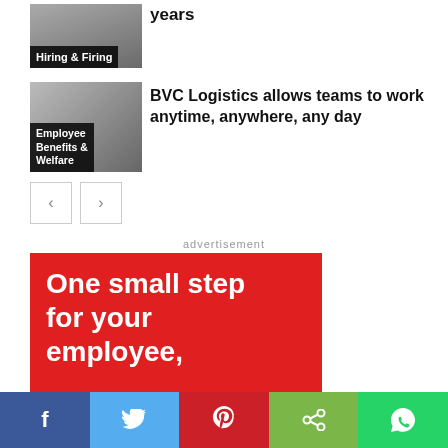years
[Figure (photo): Thumbnail image with 'Hiring & Firing' label overlay]
[Figure (photo): Thumbnail image with 'Employee Benefits & Welfare' label overlay]
BVC Logistics allows teams to work anytime, anywhere, any day
[Figure (other): Navigation previous and next arrow buttons]
advertisement
[Figure (infographic): Red advertisement banner with white bold text: 'One small step for your employee,']
[Figure (other): Social sharing bar with Facebook, Twitter, Pinterest, Share, and WhatsApp buttons]